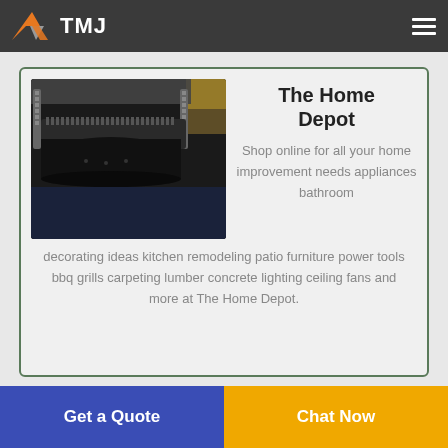TMJ
[Figure (photo): Close-up photo of industrial printing or cutting machine interior showing black rollers and mechanical components]
The Home Depot
Shop online for all your home improvement needs appliances bathroom decorating ideas kitchen remodeling patio furniture power tools bbq grills carpeting lumber concrete lighting ceiling fans and more at The Home Depot.
Get a Quote
Chat Now